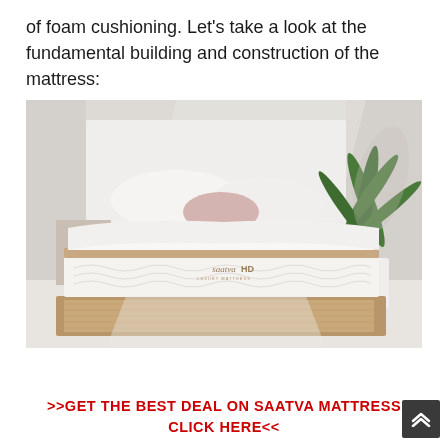of foam cushioning. Let's take a look at the fundamental building and construction of the mattress:
[Figure (photo): Saatva HD luxury mattress on a wooden platform bed frame in a bright minimalist bedroom with white pillows, a pink accent pillow, and a potted palm plant.]
>>GET THE BEST DEAL ON SAATVA MATTRESS CLICK HERE<<